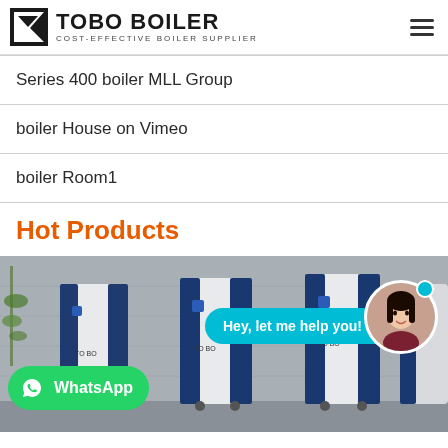TOBO BOILER — COST-EFFECTIVE BOILER SUPPLIER
Series 400 boiler MLL Group
boiler House on Vimeo
boiler Room1
Hot Products
[Figure (photo): Blue and white industrial boilers in a showroom with WhatsApp chat widget overlay and assistant avatar bubble saying 'Hey, let me help you!']